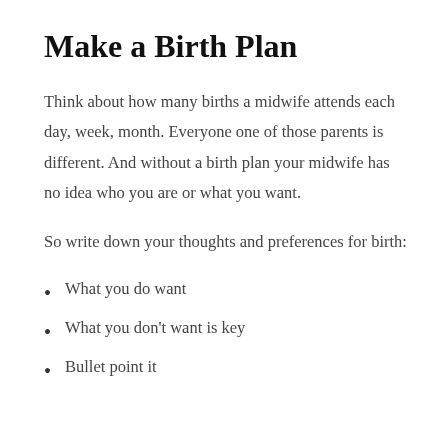Make a Birth Plan
Think about how many births a midwife attends each day, week, month. Everyone one of those parents is different. And without a birth plan your midwife has no idea who you are or what you want.
So write down your thoughts and preferences for birth:
What you do want
What you don't want is key
Bullet point it